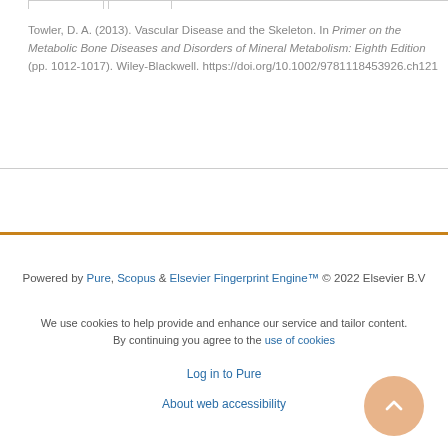Towler, D. A. (2013). Vascular Disease and the Skeleton. In Primer on the Metabolic Bone Diseases and Disorders of Mineral Metabolism: Eighth Edition (pp. 1012-1017). Wiley-Blackwell. https://doi.org/10.1002/9781118453926.ch121
Powered by Pure, Scopus & Elsevier Fingerprint Engine™ © 2022 Elsevier B.V
We use cookies to help provide and enhance our service and tailor content. By continuing you agree to the use of cookies
Log in to Pure
About web accessibility